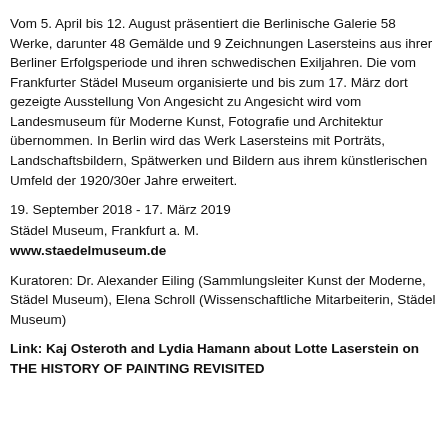Vom 5. April bis 12. August präsentiert die Berlinische Galerie 58 Werke, darunter 48 Gemälde und 9 Zeichnungen Lasersteins aus ihrer Berliner Erfolgsperiode und ihren schwedischen Exiljahren. Die vom Frankfurter Städel Museum organisierte und bis zum 17. März dort gezeigte Ausstellung Von Angesicht zu Angesicht wird vom Landesmuseum für Moderne Kunst, Fotografie und Architektur übernommen. In Berlin wird das Werk Lasersteins mit Porträts, Landschaftsbildern, Spätwerken und Bildern aus ihrem künstlerischen Umfeld der 1920/30er Jahre erweitert.
19. September 2018 - 17. März 2019
Städel Museum, Frankfurt a. M.
www.staedelmuseum.de
Kuratoren: Dr. Alexander Eiling (Sammlungsleiter Kunst der Moderne, Städel Museum), Elena Schroll (Wissenschaftliche Mitarbeiterin, Städel Museum)
Link: Kaj Osteroth and Lydia Hamann about Lotte Laserstein on THE HISTORY OF PAINTING REVISITED